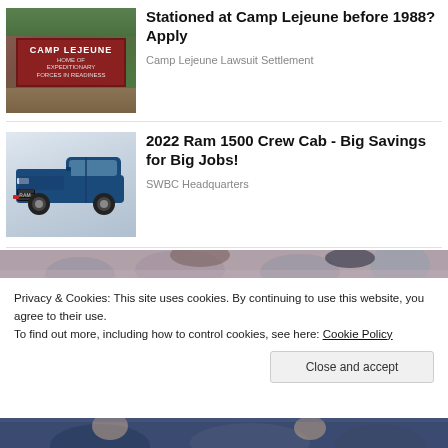[Figure (photo): Camp Lejeune sign photo - brick sign reading 'CAMP LEJEUNE HOME OF EXPEDITIONARY FORCES IN READINESS' surrounded by trees]
Stationed at Camp Lejeune before 1988? Apply
Camp Lejeune Lawsuit Settlement
[Figure (photo): 2022 Ram 1500 Crew Cab truck in blue/black color on white background]
2022 Ram 1500 Crew Cab - Big Savings for Big Jobs!
SWBC Headquarters
[Figure (photo): Partial image of people at top, partially cropped]
Privacy & Cookies: This site uses cookies. By continuing to use this website, you agree to their use.
To find out more, including how to control cookies, see here: Cookie Policy
Close and accept
[Figure (photo): Partial image of people at bottom, partially cropped]